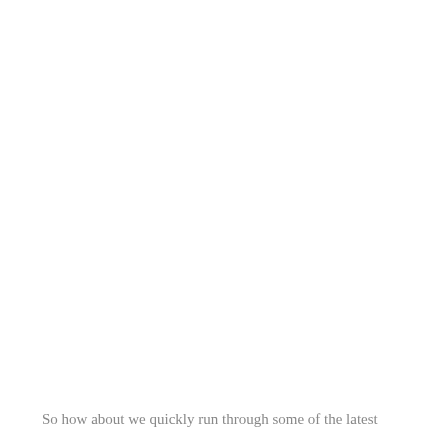So how about we quickly run through some of the latest